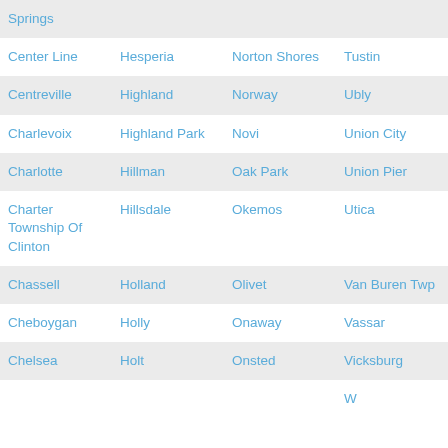| Springs |  |  |  |
| Center Line | Hesperia | Norton Shores | Tustin |
| Centreville | Highland | Norway | Ubly |
| Charlevoix | Highland Park | Novi | Union City |
| Charlotte | Hillman | Oak Park | Union Pier |
| Charter Township Of Clinton | Hillsdale | Okemos | Utica |
| Chassell | Holland | Olivet | Van Buren Twp |
| Cheboygan | Holly | Onaway | Vassar |
| Chelsea | Holt | Onsted | Vicksburg |
|  |  |  | W |